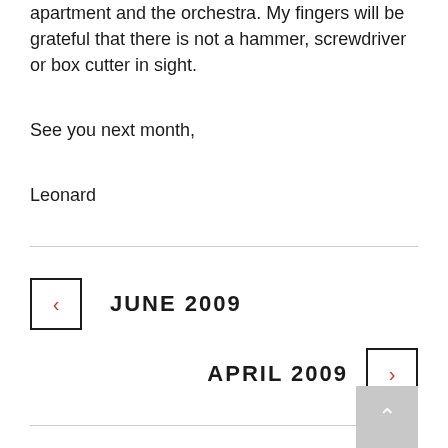apartment and the orchestra. My fingers will be grateful that there is not a hammer, screwdriver or box cutter in sight.
See you next month,
Leonard
< JUNE 2009
APRIL 2009 >